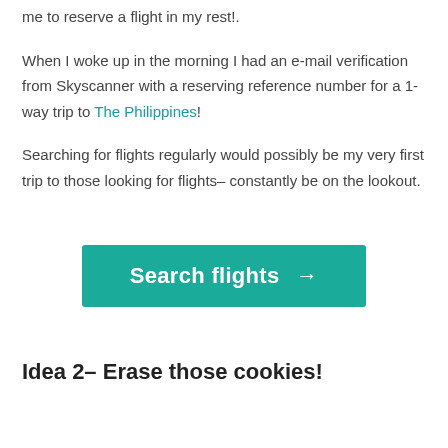me to reserve a flight in my rest!.
When I woke up in the morning I had an e-mail verification from Skyscanner with a reserving reference number for a 1-way trip to The Philippines!
Searching for flights regularly would possibly be my very first trip to those looking for flights– constantly be on the lookout.
[Figure (other): Teal call-to-action button with white bold text reading 'Search flights →']
Idea 2– Erase those cookies!